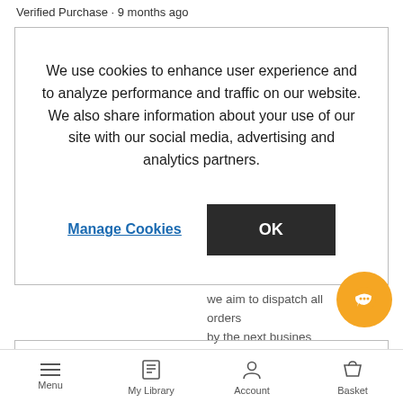Verified Purchase · 9 months ago
We use cookies to enhance user experience and to analyze performance and traffic on our website. We also share information about your use of our site with our social media, advertising and analytics partners.
Manage Cookies
OK
...we aim to dispatch all orders by the next business...
[Figure (screenshot): Orange circular chat/message button icon in bottom right]
Menu  My Library  Account  Basket